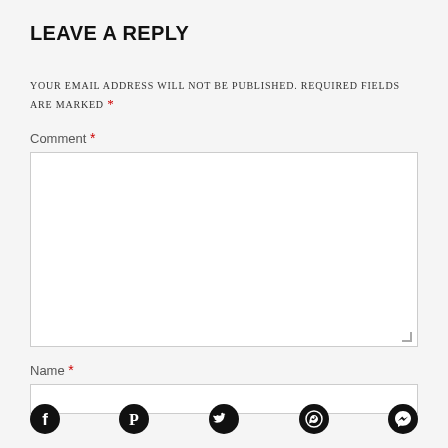LEAVE A REPLY
YOUR EMAIL ADDRESS WILL NOT BE PUBLISHED. REQUIRED FIELDS ARE MARKED *
Comment *
Name *
[Figure (infographic): Social media icons row: Facebook, Pinterest, Twitter, WhatsApp, Messenger]